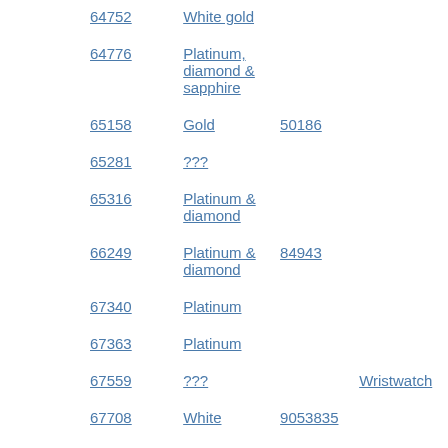| 64752 | White gold |  |  |
| 64776 | Platinum, diamond & sapphire |  |  |
| 65158 | Gold | 50186 |  |
| 65281 | ??? |  |  |
| 65316 | Platinum & diamond |  |  |
| 66249 | Platinum & diamond | 84943 |  |
| 67340 | Platinum |  |  |
| 67363 | Platinum |  |  |
| 67559 | ??? |  | Wristwatch |
| 67708 | White | 9053835 |  |